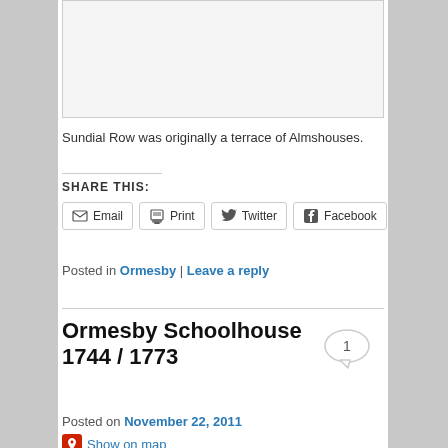[Figure (photo): Blank/empty image placeholder with light gray background and border]
Sundial Row was originally a terrace of Almshouses.
SHARE THIS:
Email | Print | Twitter | Facebook
Posted in Ormesby | Leave a reply
Ormesby Schoolhouse 1744 / 1773
Posted on November 22, 2011
Show on map